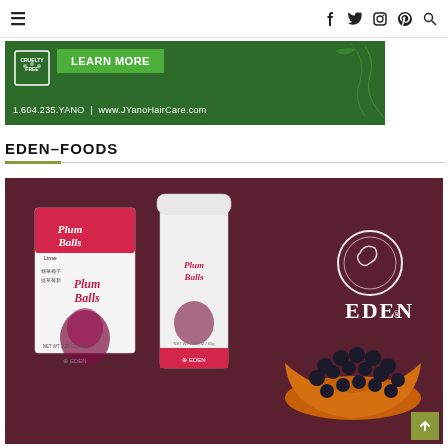≡  f  twitter  instagram  pinterest  search
[Figure (photo): Green advertisement banner for JYano HairCare showing 'Cruelty Free' badge, 'LEARN MORE' button, phone number 1.604.235.YANO and website www.JYanoHairCare.com on a dark green background with decorative bird/plant motif]
EDEN–FOODS
[Figure (photo): Product photo showing Eden Foods Lime Plum Balls packaging — a pink/white box and a white cylindrical container, both labeled 'Lime Plum Balls' with Chinese characters and Eden brand logo. A wooden bowl of dark round plum balls is shown to the right, with the Eden brand logo on a dark maroon background. NET WT 2.28 OZ / 65g indicated on packaging.]